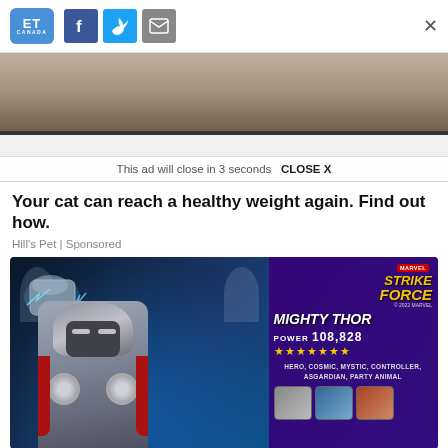ET Canada | Facebook | Twitter | Email | Close
[Figure (screenshot): Ad overlay with text: This ad will close in 3 seconds  CLOSE X, over a blurred cat image strip]
Your cat can reach a healthy weight again. Find out how.
Hill's Pet | Sponsored
[Figure (advertisement): Marvel Strike Force advertisement featuring Mighty Thor with hammer, text: MIGHTY THOR, POWER 108,828, five stars, HERO, COSMIC, MYSTIC, CONTROLLER, ASGARDIAN, PARTY ANIMAL, with three character thumbnails at bottom]